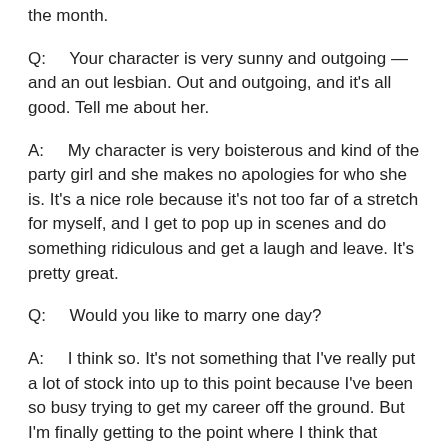the month.
Q:    Your character is very sunny and outgoing — and an out lesbian. Out and outgoing, and it's all good. Tell me about her.
A:    My character is very boisterous and kind of the party girl and she makes no apologies for who she is. It's a nice role because it's not too far of a stretch for myself, and I get to pop up in scenes and do something ridiculous and get a laugh and leave. It's pretty great.
Q:    Would you like to marry one day?
A:    I think so. It's not something that I've really put a lot of stock into up to this point because I've been so busy trying to get my career off the ground. But I'm finally getting to the point where I think that would be nice, because you can have all the success in the world but if you don't have someone to share it with — all that stuff it would be better to share that